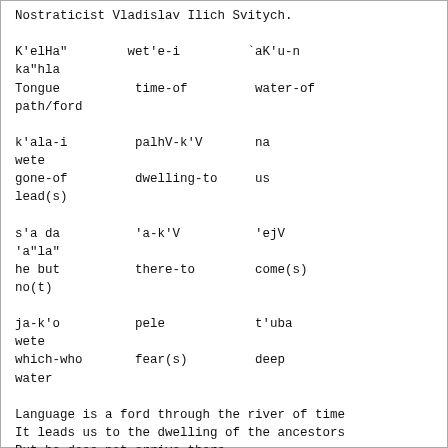Nostraticist Vladislav Ilich Svitych.
K'elHa"        wet'e-i         `aK'u-n
ka"hla
Tongue          time-of         water-of
path/ford
k'ala-i         palhV-k'V       na
wete
gone-of         dwelling-to     us
lead(s)
s'a da          'a-k'V          'ejV
'a"la"
he but          there-to        come(s)
no(t)
ja-k'o          pele            t'uba
wete
which-who       fear(s)         deep
water
Language is a ford through the river of time
It leads us to the dwelling of the ancestors
But he does not arrive there
Who is afraid of deep water
Note: V is an uncertain vowel, K is k/q, a" is a
with " on top, and s'
is s with ' on top. The ' after a stop consonant
(t, k, etc.) denotes...